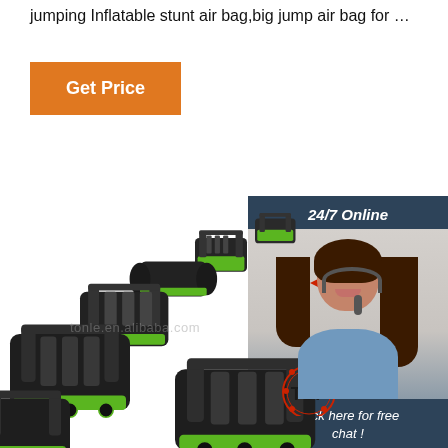jumping Inflatable stunt air bag,big jump air bag for …
Get Price
[Figure (photo): Customer service representative wearing a headset, smiling, with '24/7 Online' header, 'Click here for free chat!' text and orange QUOTATION button]
[Figure (photo): Series of inflatable obstacle course equipment (black and green) arranged diagonally on white background, with tonle.en.alibaba.com watermark and TOP badge in bottom right]
tonle.en.alibaba.com